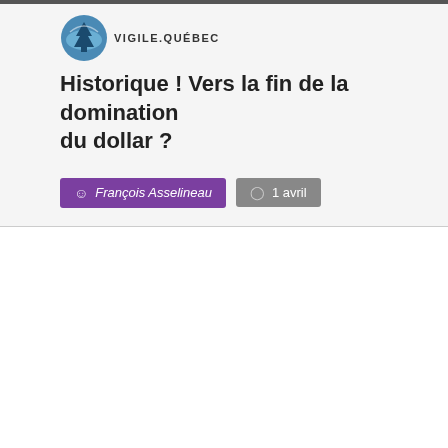[Figure (logo): VigileQuébec logo with circular blue/grey emblem and text VIGILE.QUÉBEC]
Historique ! Vers la fin de la domination du dollar ?
François Asselineau  |  1 avril